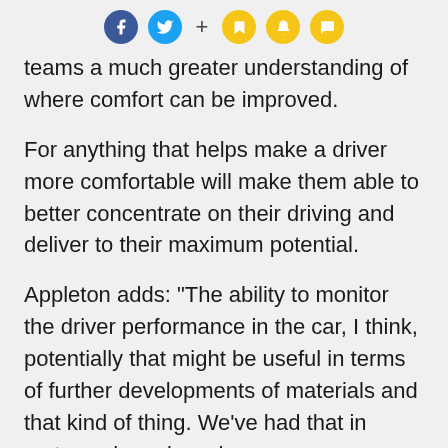[Social sharing icons: Facebook, Twitter, +, Bookmark, Bell, Comment]
teams a much greater understanding of where comfort can be improved.
For anything that helps make a driver more comfortable will make them able to better concentrate on their driving and deliver to their maximum potential.
Appleton adds: "The ability to monitor the driver performance in the car, I think, potentially that might be useful in terms of further developments of materials and that kind of thing. We've had that in motorcycle racing when we were researching the airbag.
"We had a fully equipped physiological sensing system, as well as the electronic system for the actual airbag. We were able to look at how...